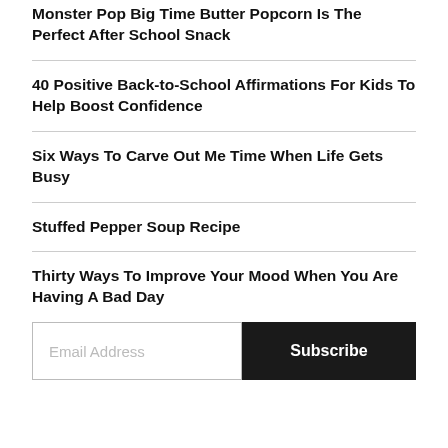Monster Pop Big Time Butter Popcorn Is The Perfect After School Snack
40 Positive Back-to-School Affirmations For Kids To Help Boost Confidence
Six Ways To Carve Out Me Time When Life Gets Busy
Stuffed Pepper Soup Recipe
Thirty Ways To Improve Your Mood When You Are Having A Bad Day
Email Address | Subscribe